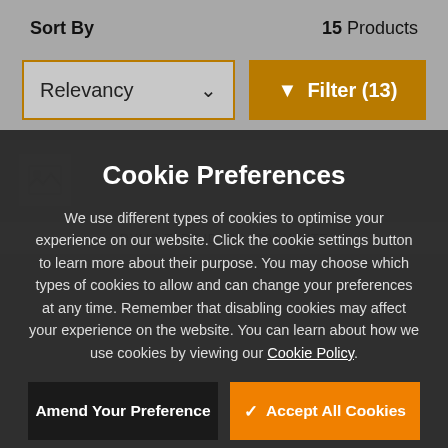Sort By
15 Products
Relevancy
▼ Filter (13)
[Figure (screenshot): Broken image placeholder for a product thumbnail]
DYMO TAPE ID1 18 1009 WHITE
Cookie Preferences
We use different types of cookies to optimise your experience on our website. Click the cookie settings button to learn more about their purpose. You may choose which types of cookies to allow and can change your preferences at any time. Remember that disabling cookies may affect your experience on the website. You can learn about how we use cookies by viewing our Cookie Policy.
Amend Your Preference
✓ Accept All Cookies